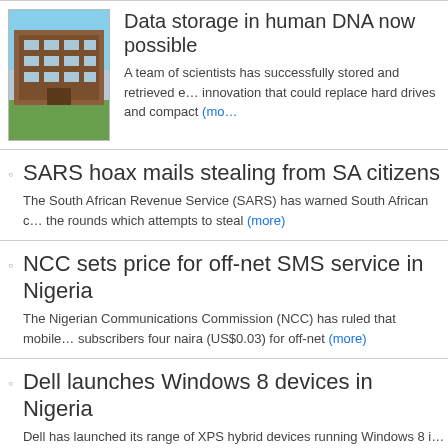[Figure (photo): Photo of a building exterior with red-brown facade and green grass in front, blue sky above]
Data storage in human DNA now possible
A team of scientists has successfully stored and retrieved e… innovation that could replace hard drives and compact (more)
SARS hoax mails stealing from SA citizens – The South African Revenue Service (SARS) has warned South African c… the rounds which attempts to steal (more)
NCC sets price for off-net SMS service in Nigeria – The Nigerian Communications Commission (NCC) has ruled that mobile… subscribers four naira (US$0.03) for off-net (more)
Dell launches Windows 8 devices in Nigeria – Dell has launched its range of XPS hybrid devices running Windows 8 i… awaited XPS 12 convertible Ultrabook.
OUTA successful in right of appeal against SA e-tolli – The Opposition to Urban Tolling Alliance (OUTA) has been granted perm…